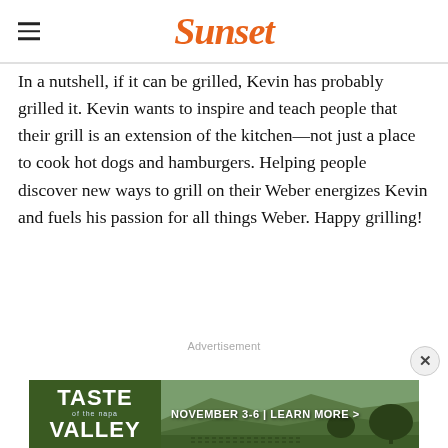Sunset
In a nutshell, if it can be grilled, Kevin has probably grilled it. Kevin wants to inspire and teach people that their grill is an extension of the kitchen—not just a place to cook hot dogs and hamburgers. Helping people discover new ways to grill on their Weber energizes Kevin and fuels his passion for all things Weber. Happy grilling!
Advertisement
[Figure (photo): Taste of the Valley advertisement banner. Green background on left with 'TASTE OF THE VALLEY' text, and a landscape vineyard photo on the right with text 'NOVEMBER 3-6 | LEARN MORE >']